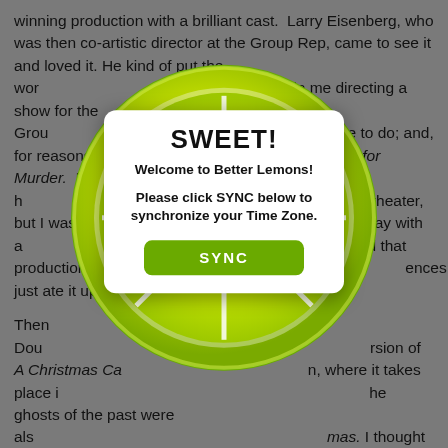winning production with a brilliant cast. Larry Eisenberg, who was then co-artistic director at the Group Rep, came to see it and loved it. He kind of put the word out that he was interested in me directing a show for the Group Rep. I had always wanted to like to do; and, for reasons I can't quite recall, we did Dial M for Murder. I don't think he had ever done straight theater, but I was particularly pleased because I had talked talking play with a… and that production… audiences just ate it up.

Then Doug… rsion of A Christmas Ca… n, where it takes place in… he ghosts of the past were als… mas. I thought it was a clever idea - a… and I wrote the score. The theater had actually co… before we even started writing. I also directed the production, and it happily turned out well. Again, audiences just really took to it. Doug and I were both nominated for Ovation Awards – he for his book and me for the score. I won a Scenie Award for the score, so that was nice. Then last December, I directed The Man Who Came to Dinner. Directly after that, I directed Doug's play, In My Mind's Eye, which was a big change of
[Figure (illustration): A large lemon/lime slice illustration (circular cross-section showing segments) overlaying the text background, with a white modal popup in the center showing 'SWEET! Welcome to Better Lemons! Please click SYNC below to synchronize your Time Zone.' and a green SYNC button.]